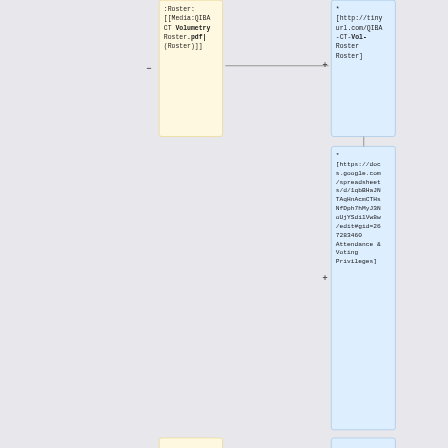:Roster: [[Media:QIBA CT Volumetry Roster.pdf|(Roster)]]
* [http://tinyurl.com/QIBA-CT-Vol-Roster Roster]
* [https://docs.google.com/spreadsheets/d/1qbBHaJNTAqHnAcmCTHsNfDph7hMyJ3NoUjYSdilVw8w/edit#gid=267283460 Attendance & Voting Privileges]